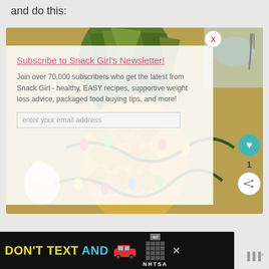and do this:
[Figure (screenshot): Screenshot of a webpage showing a pineapple decorated with Christmas lights in the background, with a newsletter subscribe popup overlay. The popup reads 'Subscribe to Snack Girl's Newsletter!' and 'Join over 70,000 subscribers who get the latest from Snack Girl - healthy, EASY recipes, supportive weight loss advice, packaged food buying tips, and more!' with an email input field. There is a teal heart button with '1' below it and a share button on the right side. An 'X' close button appears at top right of the popup.]
[Figure (screenshot): Ad banner at the bottom: black background with yellow text 'DON'T TEXT' and cyan text 'AND', a red car emoji, and the NHTSA ad logo. An X close button and weather widget showing degrees are also visible.]